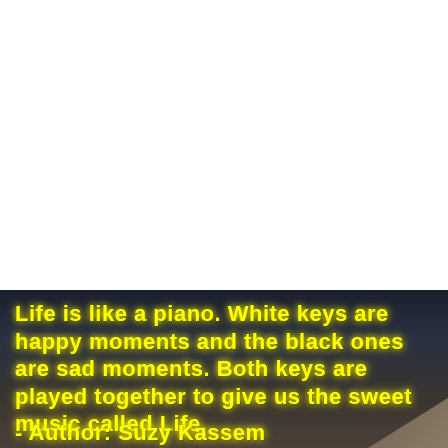[Figure (photo): Dark night sky and rocky terrain background image with an inspirational quote overlay in yellow neon-style text. The quote reads: 'Life is like a piano. White keys are happy moments and the black ones are sad moments. Both keys are played together to give us the sweet music called Life. - Author: Suzy Kassem']
Life is like a piano. White keys are happy moments and the black ones are sad moments. Both keys are played together to give us the sweet music called Life.
 - Author: Suzy Kassem